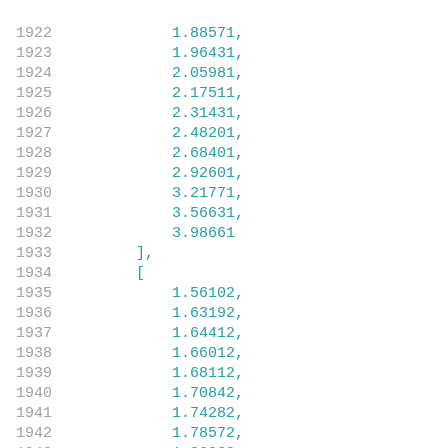Code listing showing line numbers 1922-1942 with numeric data values in array format
1922    1.88571,
1923    1.96431,
1924    2.05981,
1925    2.17511,
1926    2.31431,
1927    2.48201,
1928    2.68401,
1929    2.92601,
1930    3.21771,
1931    3.56631,
1932    3.98661
1933    ],
1934    [
1935        1.56102,
1936        1.63192,
1937        1.64412,
1938        1.66012,
1939        1.68112,
1940        1.70842,
1941        1.74282,
1942        1.78572,
1943        1.83862,